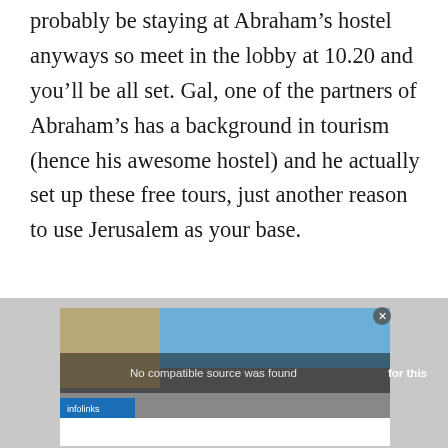probably be staying at Abraham's hostel anyways so meet in the lobby at 10.20 and you'll be all set. Gal, one of the partners of Abraham's has a background in tourism (hence his awesome hostel) and he actually set up these free tours, just another reason to use Jerusalem as your base.
[Figure (screenshot): A video player screenshot showing a stone building and blue sky, with a media error overlay reading 'No compatible source was found for this' and an 'infolinks' watermark label.]